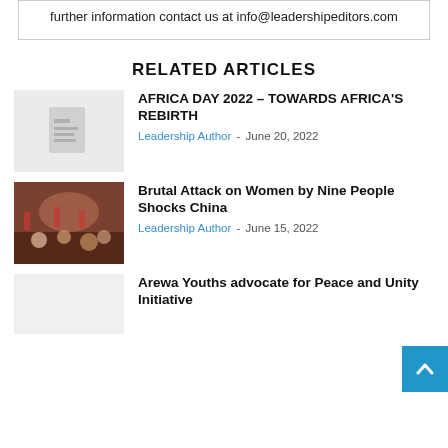further information contact us at info@leadershipeditors.com
RELATED ARTICLES
AFRICA DAY 2022 – TOWARDS AFRICA'S REBIRTH
Leadership Author - June 20, 2022
Brutal Attack on Women by Nine People Shocks China
Leadership Author - June 15, 2022
Arewa Youths advocate for Peace and Unity Initiative